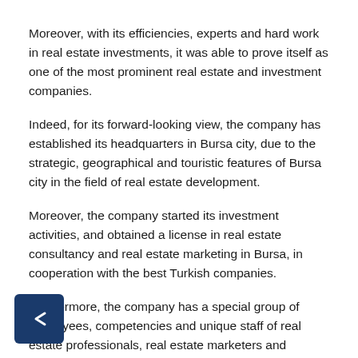Moreover, with its efficiencies, experts and hard work in real estate investments, it was able to prove itself as one of the most prominent real estate and investment companies.
Indeed, for its forward-looking view, the company has established its headquarters in Bursa city, due to the strategic, geographical and touristic features of Bursa city in the field of real estate development.
Moreover, the company started its investment activities, and obtained a license in real estate consultancy and real estate marketing in Bursa, in cooperation with the best Turkish companies.
Furthermore, the company has a special group of employees, competencies and unique staff of real estate professionals, real estate marketers and translators.